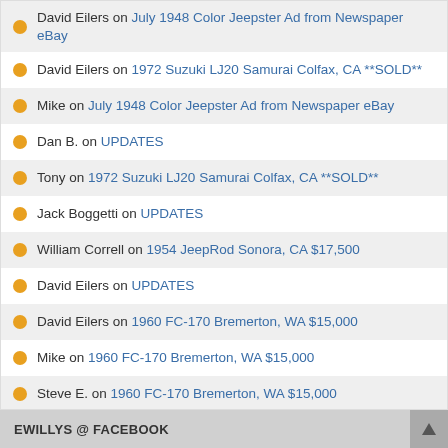David Eilers on July 1948 Color Jeepster Ad from Newspaper eBay
David Eilers on 1972 Suzuki LJ20 Samurai Colfax, CA **SOLD**
Mike on July 1948 Color Jeepster Ad from Newspaper eBay
Dan B. on UPDATES
Tony on 1972 Suzuki LJ20 Samurai Colfax, CA **SOLD**
Jack Boggetti on UPDATES
William Correll on 1954 JeepRod Sonora, CA $17,500
David Eilers on UPDATES
David Eilers on 1960 FC-170 Bremerton, WA $15,000
Mike on 1960 FC-170 Bremerton, WA $15,000
Steve E. on 1960 FC-170 Bremerton, WA $15,000
Srivatsan Parthasarathy on 1954 Universal and Farm Jeep Parts List
JohnfromSC on UPDATES
Mike on 1946 CJ-2A Lewiston, ID $5900
EWILLYS @ FACEBOOK